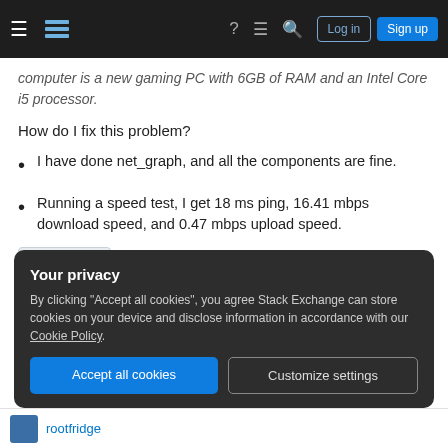Stack Exchange navigation bar with hamburger menu, logo, help, chat, search icons, Log in and Sign up buttons
computer is a new gaming PC with 6GB of RAM and an Intel Core i5 processor.
How do I fix this problem?
I have done net_graph, and all the components are fine.
Running a speed test, I get 18 ms ping, 16.41 mbps download speed, and 0.47 mbps upload speed.
team-fortress-2
Your privacy
By clicking "Accept all cookies", you agree Stack Exchange can store cookies on your device and disclose information in accordance with our Cookie Policy.
Accept all cookies    Customize settings
rootfridge